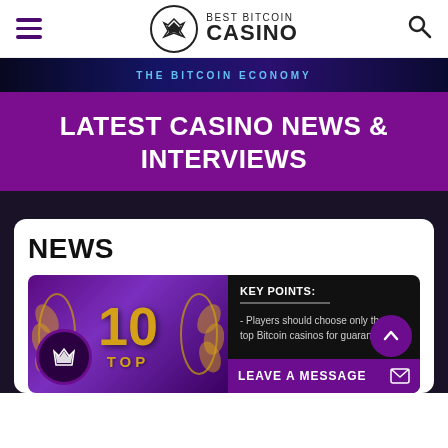Best Bitcoin Casino
[Figure (screenshot): Dark themed advertisement banner with glowing blue text]
LATEST CASINO NEWS & INTERVIEWS
NEWS
[Figure (illustration): News card showing a purple background with gold '10 TOP' award graphic and laurel wreaths, alongside a black panel with KEY POINTS text reading: Players should choose only the top Bitcoin casinos for guaranteed...]
KEY POINTS:
- Players should choose only the top Bitcoin casinos for guaranteed